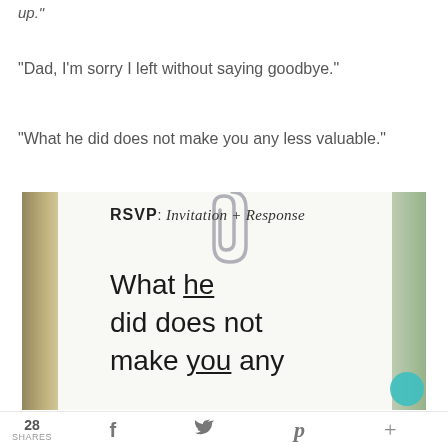up."
"Dad, I'm sorry I left without saying goodbye."
"What he did does not make you any less valuable."
[Figure (photo): Photo of a handwritten note on white paper clipped with a paperclip. The note reads 'RSVP: Invitation + Response' at the top, and below in large handwriting: 'What he did does not make you any...' (cut off). The word 'he' is underlined. Background shows wood and burlap texture.]
28 SHARES  f  [twitter]  p  +